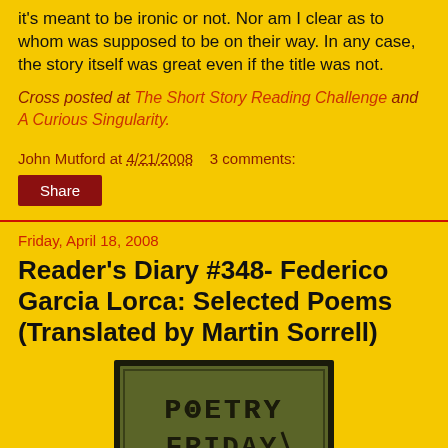it's meant to be ironic or not. Nor am I clear as to whom was supposed to be on their way. In any case, the story itself was great even if the title was not.
Cross posted at The Short Story Reading Challenge and A Curious Singularity.
John Mutford at 4/21/2008   3 comments:
Share
Friday, April 18, 2008
Reader's Diary #348- Federico Garcia Lorca: Selected Poems (Translated by Martin Sorrell)
[Figure (illustration): A square image with olive/dark green background and black border, containing the text 'POETRY FRIDAY' in a hand-drawn style font with decorative elements.]